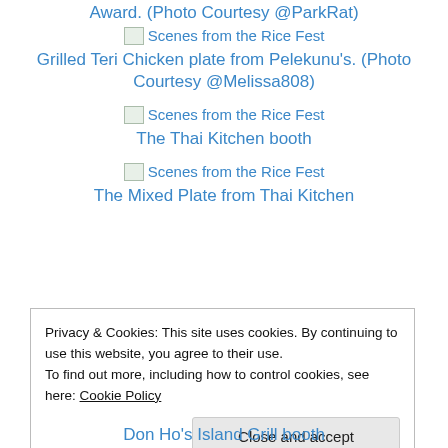Award. (Photo Courtesy @ParkRat)
[Figure (photo): Scenes from the Rice Fest (broken image placeholder)]
Grilled Teri Chicken plate from Pelekunu's. (Photo Courtesy @Melissa808)
[Figure (photo): Scenes from the Rice Fest (broken image placeholder)]
The Thai Kitchen booth
[Figure (photo): Scenes from the Rice Fest (broken image placeholder)]
The Mixed Plate from Thai Kitchen
Privacy & Cookies: This site uses cookies. By continuing to use this website, you agree to their use.
To find out more, including how to control cookies, see here: Cookie Policy
Don Ho's Island Grill booth